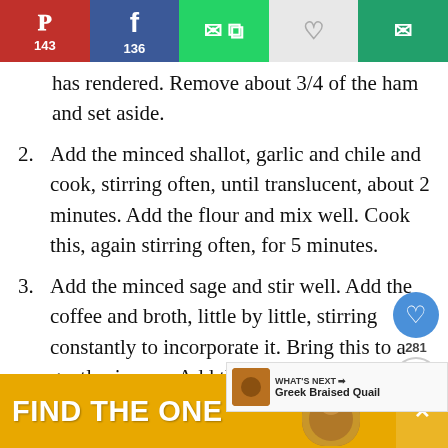[Figure (other): Social sharing bar with Pinterest (143), Facebook (136), WhatsApp, heart/save, and email buttons]
has rendered. Remove about 3/4 of the ham and set aside.
2. Add the minced shallot, garlic and chile and cook, stirring often, until translucent, about 2 minutes. Add the flour and mix well. Cook this, again stirring often, for 5 minutes.
3. Add the minced sage and stir well. Add the coffee and broth, little by little, stirring constantly to incorporate it. Bring this to a gentle simmer. Add the sorghum syrup and mix well. Allow this to cook until the gravy has the consistency of melted ice cream. and black pepper to taste.
[Figure (other): Floating social sidebar with heart icon (blue circle), count 281, and share button]
[Figure (other): What's Next promo: Greek Braised Quail with thumbnail image]
[Figure (other): Bottom advertisement banner: FIND THE ONE with dog image]